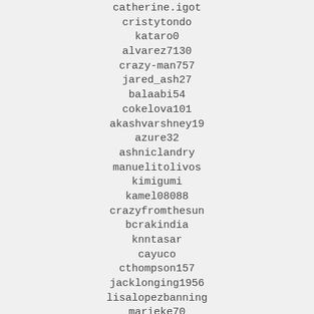catherine.igot
cristytondo
kataro0
alvarez7130
crazy-man757
jared_ash27
balaabi54
cokelova101
akashvarshney19
azure32
ashniclandry
manuelitolivos
kimigumi
kamel08088
crazyfromthesun
bcrakindia
knntasar
cayuco
cthompson157
jacklonging1956
lisalopezbanning
marieke70
francbrunet
karol.mlynek
hollyholmstrong80